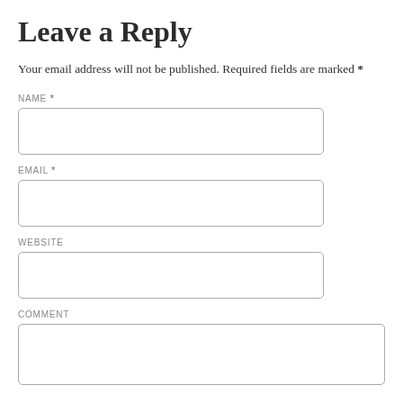Leave a Reply
Your email address will not be published. Required fields are marked *
NAME *
EMAIL *
WEBSITE
COMMENT